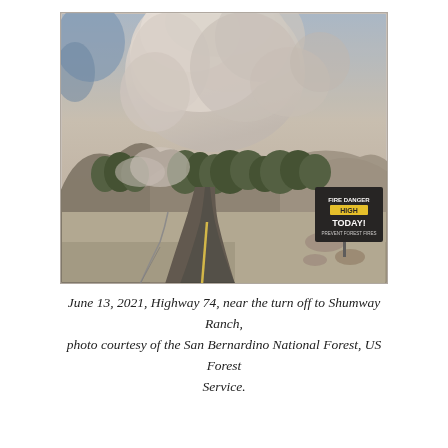[Figure (photo): Photograph taken on June 13, 2021, on Highway 74 near the turn off to Shumway Ranch. A winding mountain highway curves into the distance with a guardrail on the left side. Large plumes of white and gray smoke billow up from behind rocky, tree-covered hills. On the right side of the road stands a sign reading 'FIRE DANGER HIGH TODAY! PREVENT FOREST FIRES'. The sky is hazy with smoke. Photo courtesy of the San Bernardino National Forest, US Forest Service.]
June 13, 2021, Highway 74, near the turn off to Shumway Ranch, photo courtesy of the San Bernardino National Forest, US Forest Service.